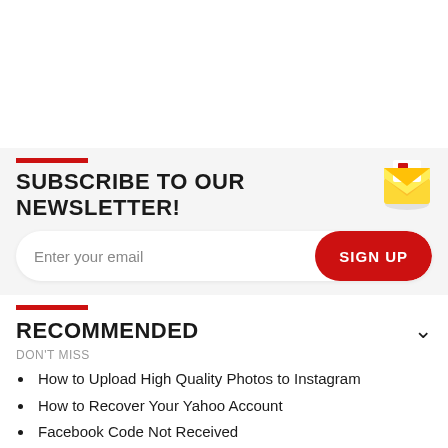SUBSCRIBE TO OUR NEWSLETTER!
Enter your email
RECOMMENDED
DON'T MISS
How to Upload High Quality Photos to Instagram
How to Recover Your Yahoo Account
Facebook Code Not Received
How to Install a VPN
How to Get More Followers on Instagram